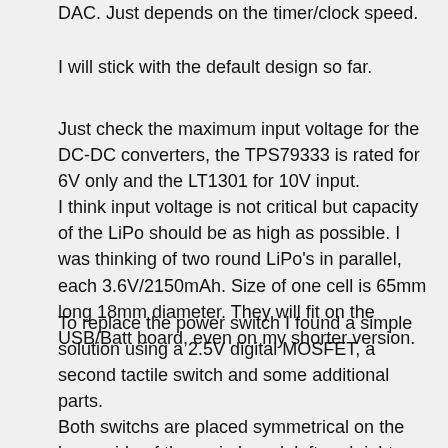DAC. Just depends on the timer/clock speed.
I will stick with the default design so far.
Just check the maximum input voltage for the DC-DC converters, the TPS79333 is rated for 6V only and the LT1301 for 10V input.
I think input voltage is not critical but capacity of the LiPo should be as high as possible. I was thinking of two round LiPo's in parallel, each 3.6V/2150mAh. Size of one cell is 65mm long 18mm diameter. They will fit on the USB/Batt board, even on my shorter version.
To replace the power switch I found a simple solution using a 2.5V digital MOSFET, a second tactile switch and some additional parts.
Both switchs are placed symmetrical on the lower side of the main board, left and right. Easy to handle with thumb and index finger for left and right hand people. See first post of this thread.